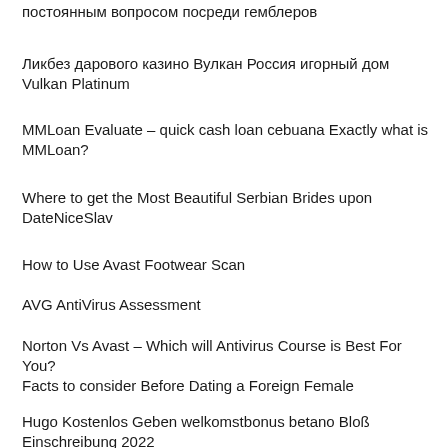постоянным вопросом посреди гемблеров
Ликбез дарового казино Вулкан Россия игорный дом Vulkan Platinum
MMLoan Evaluate – quick cash loan cebuana Exactly what is MMLoan?
Where to get the Most Beautiful Serbian Brides upon DateNiceSlav
How to Use Avast Footwear Scan
AVG AntiVirus Assessment
Norton Vs Avast – Which will Antivirus Course is Best For You?
Facts to consider Before Dating a Foreign Female
Hugo Kostenlos Geben welkomstbonus betano Bloß Einschreibung 2022